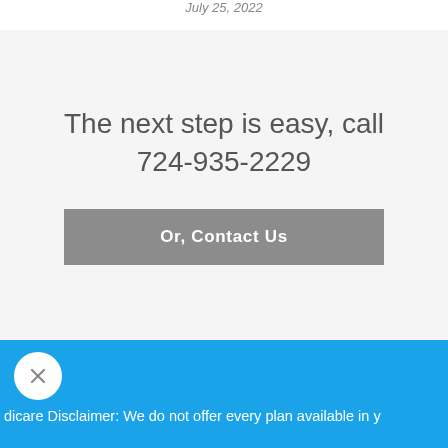July 25, 2022
The next step is easy, call
724-935-2229
Or, Contact Us
dicare Disclaimer: We do not offer every plan available in y